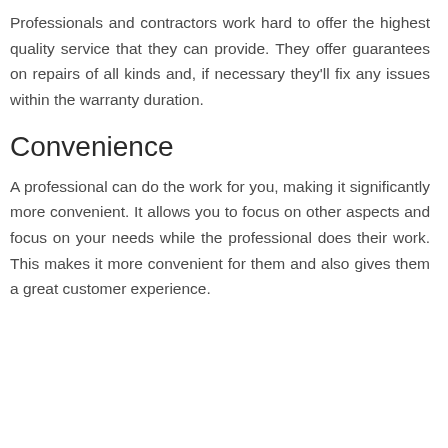Professionals and contractors work hard to offer the highest quality service that they can provide. They offer guarantees on repairs of all kinds and, if necessary they'll fix any issues within the warranty duration.
Convenience
A professional can do the work for you, making it significantly more convenient. It allows you to focus on other aspects and focus on your needs while the professional does their work. This makes it more convenient for them and also gives them a great customer experience.